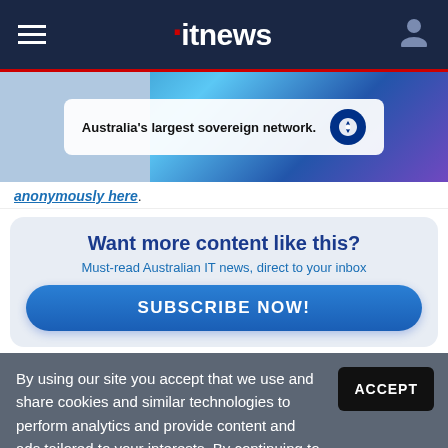itnews
[Figure (photo): Telstra advertisement banner: Australia's largest sovereign network. Shows person at computer with Telstra logo.]
anonymously here.
Want more content like this? Must-read Australian IT news, direct to your inbox SUBSCRIBE NOW!
By using our site you accept that we use and share cookies and similar technologies to perform analytics and provide content and ads tailored to your interests. By continuing to use our site, you consent to this. Please see our Cookie Policy for more information.